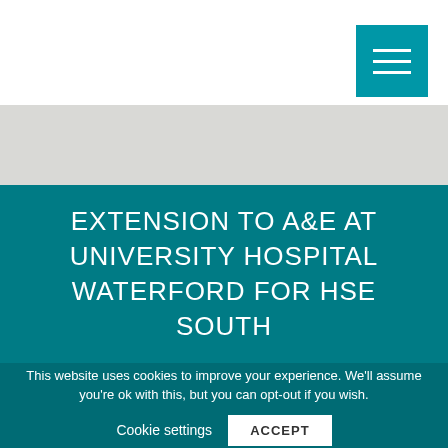[Figure (other): Hamburger/menu icon button in teal background, top-right corner]
EXTENSION TO A&E AT UNIVERSITY HOSPITAL WATERFORD FOR HSE SOUTH
This website uses cookies to improve your experience. We'll assume you're ok with this, but you can opt-out if you wish.
Cookie settings   ACCEPT